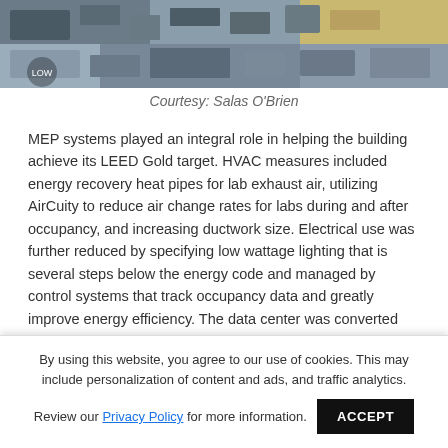[Figure (photo): Interior photo of a laboratory or data center showing equipment racks, instruments, and workbenches viewed from above]
Courtesy: Salas O'Brien
MEP systems played an integral role in helping the building achieve its LEED Gold target. HVAC measures included energy recovery heat pipes for lab exhaust air, utilizing AirCuity to reduce air change rates for labs during and after occupancy, and increasing ductwork size. Electrical use was further reduced by specifying low wattage lighting that is several steps below the energy code and managed by control systems that track occupancy data and greatly improve energy efficiency. The data center was converted from DX to chilled water, which not only saved on energy but added redundancy and
By using this website, you agree to our use of cookies. This may include personalization of content and ads, and traffic analytics.
Review our Privacy Policy for more information.